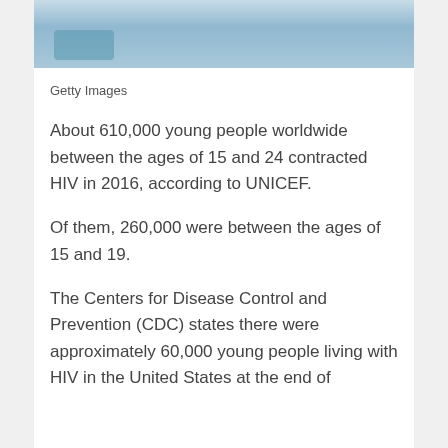[Figure (photo): Close-up photo of blue pills/tablets in a green container, suggesting medication or antiretroviral drugs.]
Getty Images
About 610,000 young people worldwide between the ages of 15 and 24 contracted HIV in 2016, according to UNICEF.
Of them, 260,000 were between the ages of 15 and 19.
The Centers for Disease Control and Prevention (CDC) states there were approximately 60,000 young people living with HIV in the United States at the end of